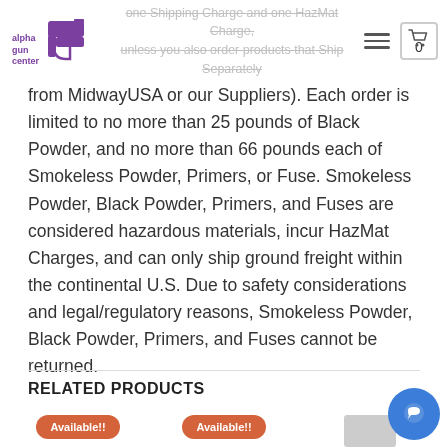alphaguncenter — one Shipping Charge and one HazMat Charge, unless you also order products that Ship Separately
from MidwayUSA or our Suppliers). Each order is limited to no more than 25 pounds of Black Powder, and no more than 66 pounds each of Smokeless Powder, Primers, or Fuse. Smokeless Powder, Black Powder, Primers, and Fuses are considered hazardous materials, incur HazMat Charges, and can only ship ground freight within the continental U.S. Due to safety considerations and legal/regulatory reasons, Smokeless Powder, Black Powder, Primers, and Fuses cannot be returned.
RELATED PRODUCTS
[Figure (photo): Product thumbnail with orange 'Available!!' badge]
[Figure (photo): Product thumbnail with orange 'Available!!' badge]
[Figure (photo): Product thumbnail (gun/firearm accessory)]